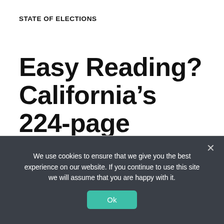STATE OF ELECTIONS
Easy Reading? California’s 224-page Voter’s Guide
Election Law Society · March 28, 2017 ·
—
We use cookies to ensure that we give you the best experience on our website. If you continue to use this site we will assume that you are happy with it.